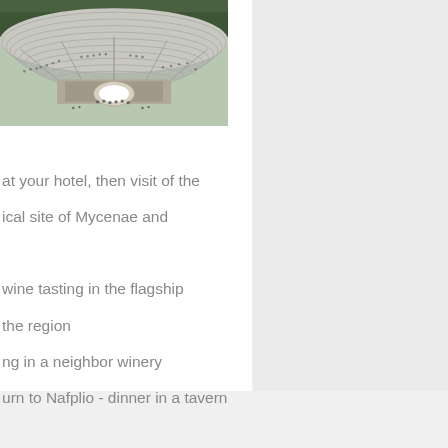[Figure (photo): Aerial view of an ancient Greek theater (likely Epidaurus), showing semicircular stone seating rows, orchestra area, and surrounding trees with audience members visible]
at your hotel, then visit of the ical site of Mycenae and
wine tasting in the flagship the region ng in a neighbor winery urn to Nafplio - dinner in a tavern